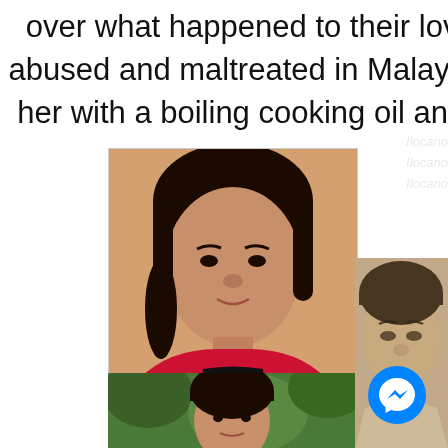over what happened to their loved o abused and maltreated in Malaysia. He her with a boiling cooking oil and scord
[Figure (photo): Portrait photo of a woman wearing a red/pink top with black underneath, dark hair pulled back, looking at camera]
[Figure (photo): Smaller photo of a woman outdoors with green foliage in background]
[Figure (photo): Large close-up blurred photo of a woman's face on the right side of the page]
[Figure (other): Facebook Messenger chat button icon (blue circle with lightning bolt/chat symbol)]